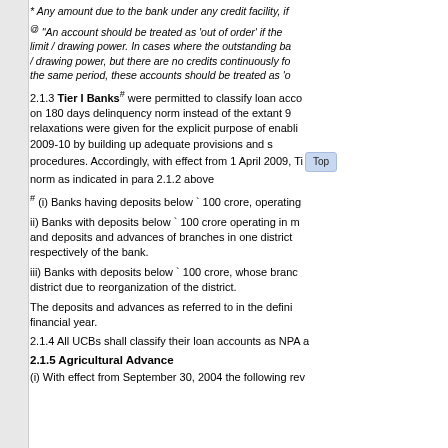* Any amount due to the bank under any credit facility, if
® "An account should be treated as 'out of order' if the limit / drawing power. In cases where the outstanding ba / drawing power, but there are no credits continuously fo the same period, these accounts should be treated as 'o
2.1.3 Tier I Banks# were permitted to classify loan acco on 180 days delinquency norm instead of the extant 9 relaxations were given for the explicit purpose of enabli 2009-10 by building up adequate provisions and s procedures. Accordingly, with effect from 1 April 2009, Ti norm as indicated in para 2.1.2 above
# (i) Banks having deposits below ` 100 crore, operating
ii) Banks with deposits below ` 100 crore operating in m and deposits and advances of branches in one district respectively of the bank.
iii) Banks with deposits below ` 100 crore, whose branc district due to reorganization of the district.
The deposits and advances as referred to in the defini financial year.
2.1.4 All UCBs shall classify their loan accounts as NPA a
2.1.5 Agricultural Advance
(i) With effect from September 30, 2004 the following rev